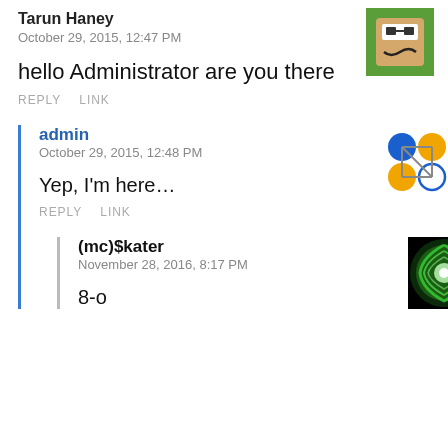Tarun Haney
October 29, 2015, 12:47 PM
hello Administrator are you there
REPLY   LINK
[Figure (illustration): Cartoon avatar of a character with brown skin, green background]
admin
October 29, 2015, 12:48 PM
Yep, I'm here…
REPLY   LINK
[Figure (illustration): Admin avatar: colored circles connected by lines (molecular/cluster icon)]
(mc)$kater
November 28, 2016, 8:17 PM
[Figure (illustration): Avatar: green glowing circular vortex on black background]
8-o